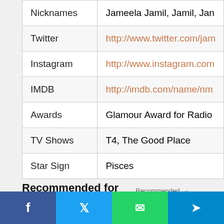| Field | Value |
| --- | --- |
| Nicknames | Jameela Jamil, Jamil, Jan |
| Twitter | http://www.twitter.com/jam |
| Instagram | http://www.instagram.com |
| IMDB | http://imdb.com/name/nm |
| Awards | Glamour Award for Radio |
| TV Shows | T4, The Good Place |
| Star Sign | Pisces |
Recommended for you   Recommended by Outbrain
[Figure (other): Social share bar with Facebook, Twitter, WhatsApp, and Telegram buttons]